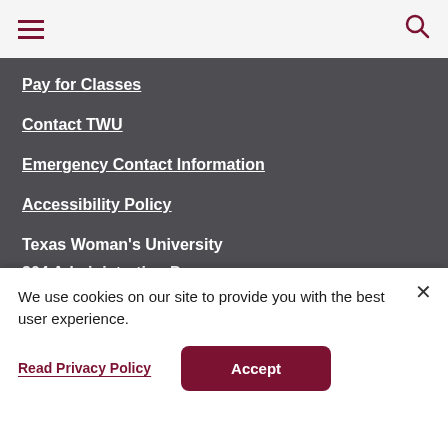≡  🔍
Pay for Classes
Contact TWU
Emergency Contact Information
Accessibility Policy
Texas Woman's University
304 Administration Dr.
Denton, TX 76204
940-898-2000
We use cookies on our site to provide you with the best user experience.
Read Privacy Policy
Accept